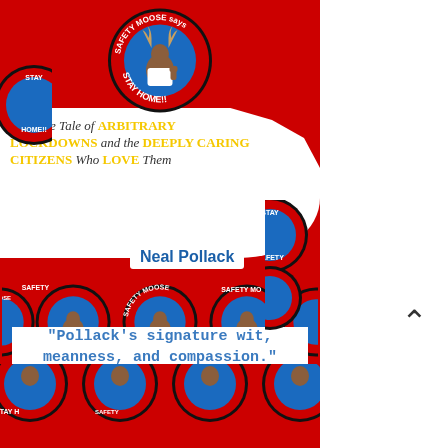[Figure (illustration): Book cover for 'Safety Moose Says Stay Home!!' by Neal Pollack. Red background with circular badges showing a cartoon moose in a doctor's outfit. White blob shape in middle contains subtitle text. Bottom strip shows multiple Safety Moose circular badges. Bottom white area contains a pull quote.]
Safety Moose Says Stay Home!!
A Future Tale of ARBITRARY LOCKDOWNS and the DEEPLY CARING CITIZENS Who LOVE Them
Neal Pollack
"Pollack's signature wit, meanness, and compassion." – Nick Gillespie